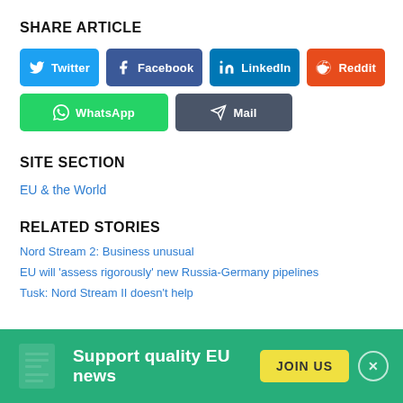SHARE ARTICLE
Twitter | Facebook | LinkedIn | Reddit | WhatsApp | Mail
SITE SECTION
EU & the World
RELATED STORIES
Nord Stream 2: Business unusual
EU will 'assess rigorously' new Russia-Germany pipelines
Tusk: Nord Stream II doesn't help
Support quality EU news
JOIN US